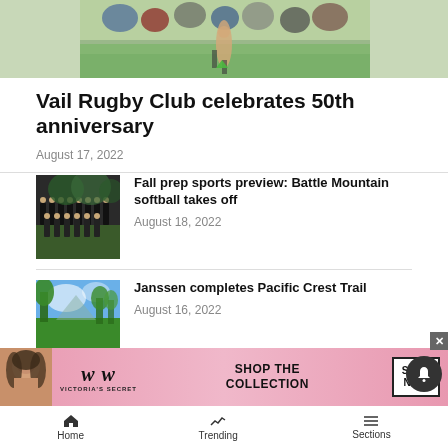[Figure (photo): Top portion of a rugby or sports action photo on a grass field, partially cropped]
Vail Rugby Club celebrates 50th anniversary
August 17, 2022
[Figure (photo): Team photo of softball players all wearing black uniforms, posing outdoors]
Fall prep sports preview: Battle Mountain softball takes off
August 18, 2022
[Figure (photo): Outdoor trail/forest photo with blue sky and trees]
Janssen completes Pacific Crest Trail
August 16, 2022
[Figure (photo): Victoria's Secret advertisement banner with a model and text: SHOP THE COLLECTION, SHOP NOW]
Home  Trending  Sections